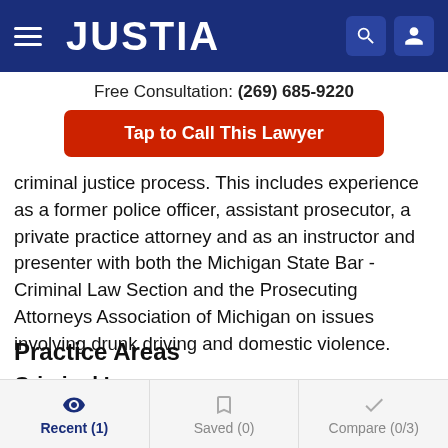JUSTIA
Free Consultation: (269) 685-9220
Tap to Call This Lawyer
criminal justice process. This includes experience as a former police officer, assistant prosecutor, a private practice attorney and as an instructor and presenter with both the Michigan State Bar - Criminal Law Section and the Prosecuting Attorneys Association of Michigan on issues involving drunk driving and domestic violence.
Practice Areas
Criminal Law
Recent (1)  Saved (0)  Compare (0/3)